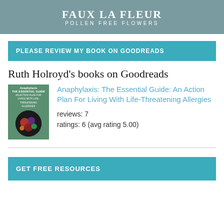[Figure (logo): Faux La Fleur – Pollen Free Flowers banner with teal/sage background]
PLEASE REVIEW MY BOOK ON GOODREADS
Ruth Holroyd's books on Goodreads
[Figure (photo): Book cover for Anaphylaxis: The Essential Guide, showing fruits and berries on a dark background]
Anaphylaxis: The Essential Guide: An Action Plan For Living With Life-Threatening Allergies
reviews: 7
ratings: 6 (avg rating 5.00)
GET FREE RESOURCES